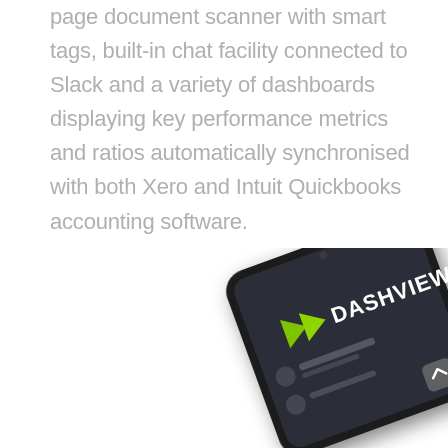page document scanner with smart tags, built-in chat facility connected to Slack and a variety of dashboards displaying key performance metrics and ratios automatically synchronised with both Xero and Intuit Quickbooks accounting software.
[Figure (photo): A smartphone showing the Dashview app login screen with a green arrow logo and 'DASHVIEW' text on a dark background, photographed at an angle]